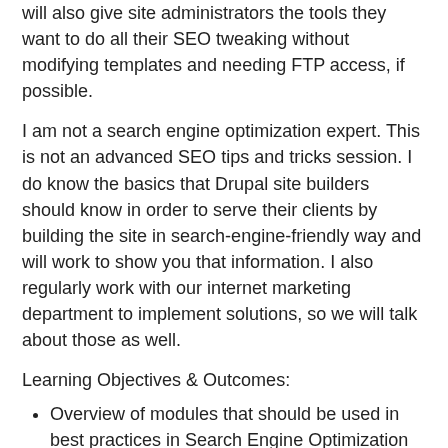will also give site administrators the tools they want to do all their SEO tweaking without modifying templates and needing FTP access, if possible.
I am not a search engine optimization expert. This is not an advanced SEO tips and tricks session. I do know the basics that Drupal site builders should know in order to serve their clients by building the site in search-engine-friendly way and will work to show you that information. I also regularly work with our internet marketing department to implement solutions, so we will talk about those as well.
Learning Objectives & Outcomes:
Overview of modules that should be used in best practices in Search Engine Optimization
Details on setting up useful URL Aliases and Redirects
How to build a sitemap and submit it to sites
Giving site administrators access to set page titles and meta tags